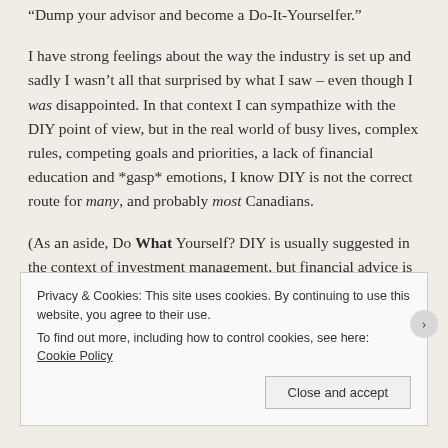“Dump your advisor and become a Do-It-Yourselfer.”
I have strong feelings about the way the industry is set up and sadly I wasn’t all that surprised by what I saw – even though I was disappointed. In that context I can sympathize with the DIY point of view, but in the real world of busy lives, complex rules, competing goals and priorities, a lack of financial education and *gasp* emotions, I know DIY is not the correct route for many, and probably most Canadians.
(As an aside, Do What Yourself? DIY is usually suggested in the context of investment management, but financial advice is about far more than just investments. That will be a common
Privacy & Cookies: This site uses cookies. By continuing to use this website, you agree to their use.
To find out more, including how to control cookies, see here: Cookie Policy
Close and accept